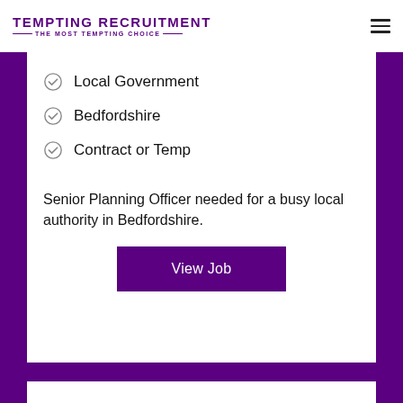[Figure (logo): Tempting Recruitment logo with text 'TEMPTING RECRUITMENT — THE MOST TEMPTING CHOICE —' in purple]
Local Government
Bedfordshire
Contract or Temp
Senior Planning Officer needed for a busy local authority in Bedfordshire.
View Job